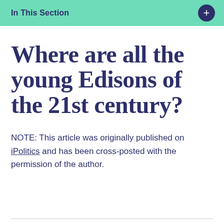In This Section
Where are all the young Edisons of the 21st century?
NOTE: This article was originally published on iPolitics and has been cross-posted with the permission of the author.